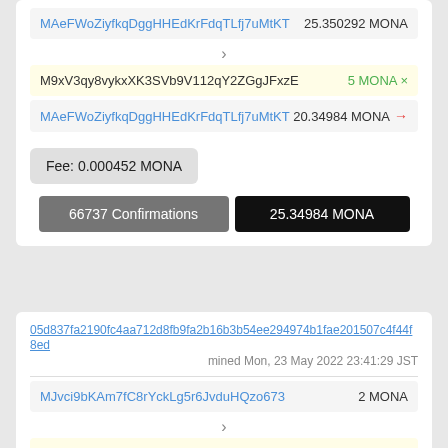MAeFWoZiyfkqDggHHEdKrFdqTLfj7uMtKT  25.350292 MONA
M9xV3qy8vykxXK3SVb9V112qY2ZGgJFxzE  5 MONA ×
MAeFWoZiyfkqDggHHEdKrFdqTLfj7uMtKT  20.34984 MONA →
Fee: 0.000452 MONA
66737 Confirmations
25.34984 MONA
05d837fa2190fc4aa712d8fb9fa2b16b3b54ee294974b1fae201507c4f44f8ed
mined Mon, 23 May 2022 23:41:29 JST
MJvci9bKAm7fC8rYckLg5r6JvduHQzo673  2 MONA
M9xV3qy8vykxXK3SVb9V112qY2ZGgJFxzE  1 MONA ×